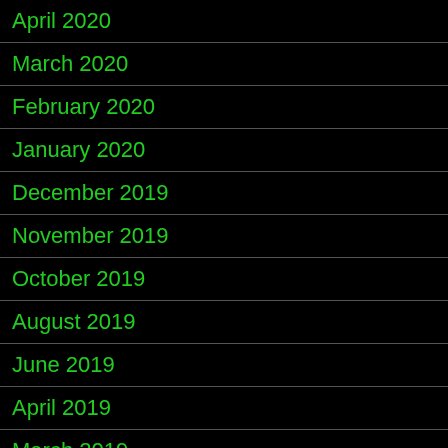April 2020
March 2020
February 2020
January 2020
December 2019
November 2019
October 2019
August 2019
June 2019
April 2019
March 2019
February 2019
January 2019